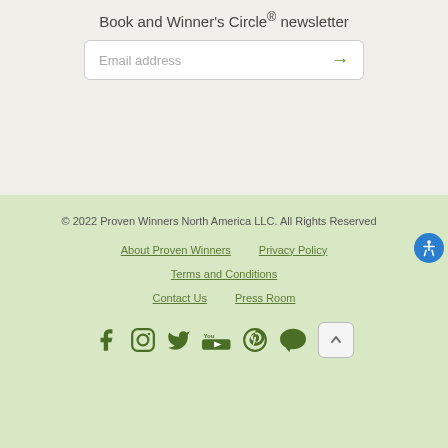Book and Winner's Circle® newsletter
Email address
© 2022 Proven Winners North America LLC. All Rights Reserved
About Proven Winners
Privacy Policy
Terms and Conditions
Contact Us
Press Room
[Figure (other): Social media icons: Facebook, Instagram, Twitter, YouTube, Pinterest, Chat/Blog, scroll-to-top button, and accessibility button]